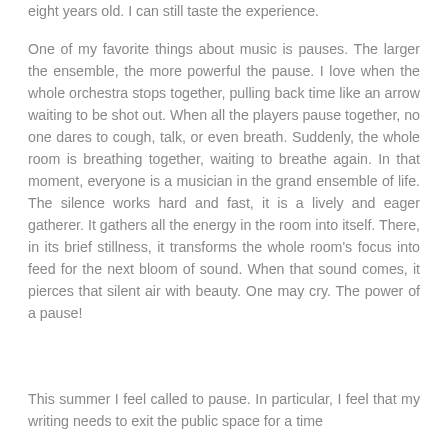eight years old. I can still taste the experience.
One of my favorite things about music is pauses. The larger the ensemble, the more powerful the pause. I love when the whole orchestra stops together, pulling back time like an arrow waiting to be shot out. When all the players pause together, no one dares to cough, talk, or even breath. Suddenly, the whole room is breathing together, waiting to breathe again. In that moment, everyone is a musician in the grand ensemble of life. The silence works hard and fast, it is a lively and eager gatherer. It gathers all the energy in the room into itself. There, in its brief stillness, it transforms the whole room's focus into feed for the next bloom of sound. When that sound comes, it pierces that silent air with beauty. One may cry. The power of a pause!
This summer I feel called to pause. In particular, I feel that my writing needs to exit the public space for a time